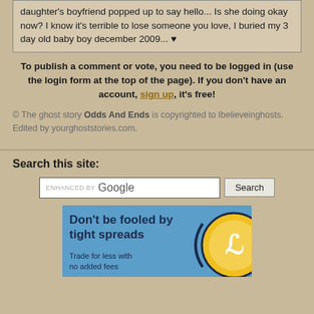daughter's boyfriend popped up to say hello... Is she doing okay now? I know it's terrible to lose someone you love, I buried my 3 day old baby boy december 2009... ♥
To publish a comment or vote, you need to be logged in (use the login form at the top of the page). If you don't have an account, sign up, it's free!
© The ghost story Odds And Ends is copyrighted to Ibelieveinghosts. Edited by yourghoststories.com.
Search this site:
[Figure (screenshot): Google search bar with 'enhanced by Google' label and a Search button]
[Figure (infographic): Advertisement banner: Don't be fooled by tight spreads. Trade for less with no added fees. Blue background with yellow circular logo.]